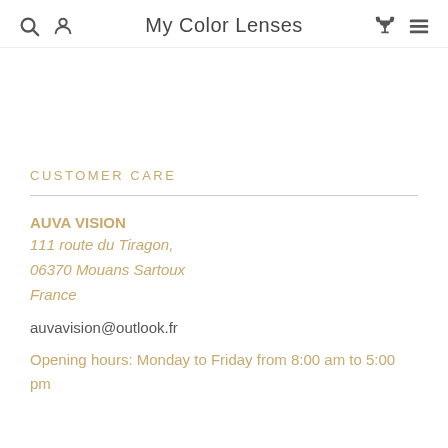My Color Lenses
CUSTOMER CARE
AUVA VISION
111 route du Tiragon,
06370 Mouans Sartoux
France
auvavision@outlook.fr
Opening hours: Monday to Friday from 8:00 am to 5:00 pm